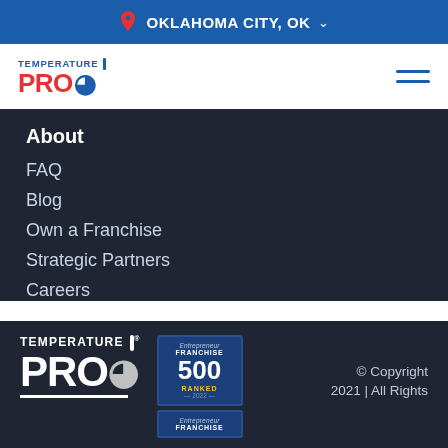OKLAHOMA CITY, OK
[Figure (logo): TemperaturePro logo - small version in header nav bar]
About
FAQ
Blog
Own a Franchise
Strategic Partners
Careers
[Figure (logo): TemperaturePro large white logo in footer]
[Figure (other): Entrepreneur Franchise 500 Ranked 2022 badge]
[Figure (other): Entrepreneur Franchise badge (partial, second badge)]
© Copyright 2021 | All Rights